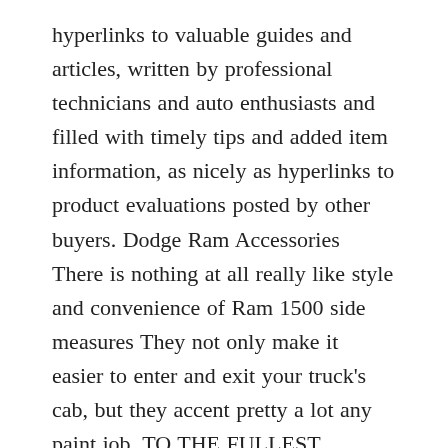hyperlinks to valuable guides and articles, written by professional technicians and auto enthusiasts and filled with timely tips and added item information, as nicely as hyperlinks to product evaluations posted by other buyers. Dodge Ram Accessories There is nothing at all really like style and convenience of Ram 1500 side measures They not only make it easier to enter and exit your truck's cab, but they accent pretty a lot any paint job. TO THE FULLEST EXTENT PERMITTED BY THE LAW, THE COSTCO AUTO Plan DISCLAIMS ANY AND ALL Conditions AND WARRANTIES, Whether EXPRESS OR IMPLIED, Which includes THE Condition OR WARRANTY OF MERCHANTABILITY AND THE Condition OR WARRANTY OF FITNESS FOR ANY Particular Goal. Our inventory contains auto parts for all tends to make sold in the United States including,